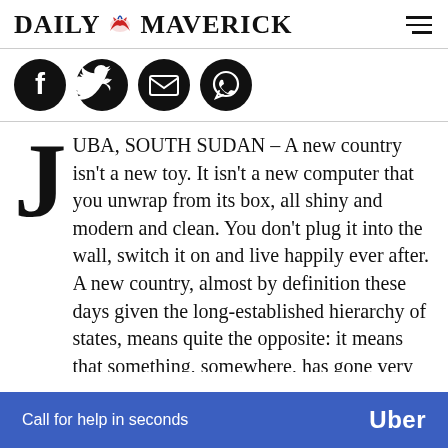DAILY MAVERICK
[Figure (other): Social media share icons: Facebook, Twitter, Email, WhatsApp]
JUBA, SOUTH SUDAN – A new country isn’t a new toy. It isn’t a new computer that you unwrap from its box, all shiny and modern and clean. You don’t plug it into the wall, switch it on and live happily ever after. A new country, almost by definition these days given the long-established hierarchy of states, means quite the opposite: it means that something, somewhere, has gone very badly wrong. A new country is a damaged country, a broken country, a country that is starting again from scratch.
[Figure (infographic): Uber advertisement banner: 'Call for help in seconds' with Uber logo on blue background]